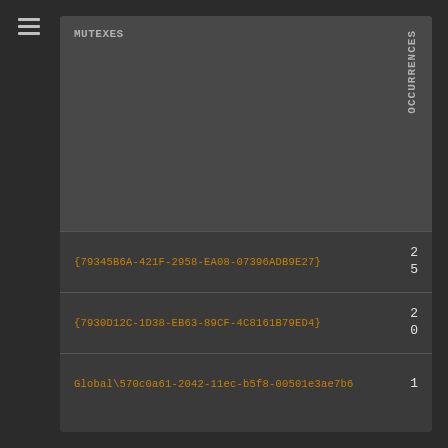| MUTEXES | OCCURRENCES |
| --- | --- |
| {79345B6A-421F-2958-EA08-07396ADB9E27} | 25 |
| {7930D12C-1D38-EB63-89CF-4C8161B79ED4} | 20 |
| Global\570c0a61-2042-11ec-b5f8-00501e3ae7b6 | 1 |